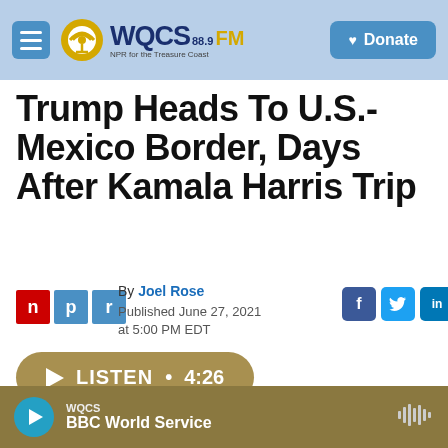WQCS 88.9 FM — NPR for the Treasure Coast | Donate
Trump Heads To U.S.-Mexico Border, Days After Kamala Harris Trip
By Joel Rose
Published June 27, 2021 at 5:00 PM EDT
[Figure (logo): NPR logo with n, p, r tiles in red and blue]
[Figure (other): Listen button: LISTEN • 4:26]
WQCS — BBC World Service